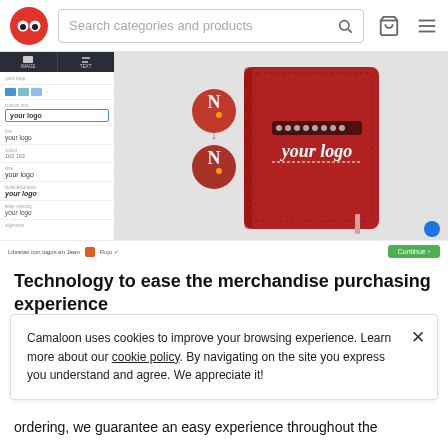[Figure (screenshot): Camaloon e-commerce website header with red owl logo, search bar reading 'Search categories and products', search icon, cart icon, and hamburger menu icon]
[Figure (screenshot): Product customizer interface showing a red notebook with 'your logo' text on the cover, and a left panel with logo/text customization options including font styles: 'your logo' in various styles]
Technology to ease the merchandise purchasing experience
Camaloon uses cookies to improve your browsing experience. Learn more about our cookie policy. By navigating on the site you express you understand and agree. We appreciate it!
ordering, we guarantee an easy experience throughout the